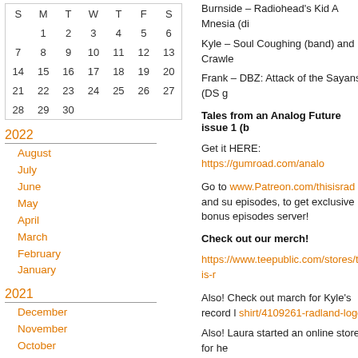[Figure (other): Monthly calendar grid showing days S M T W T F S with dates 1-30, with 3, 10, 17, 24 highlighted in orange]
2022
August
July
June
May
April
March
February
January
2021
December
November
October
September
August
July
June
May
April
March
Burnside – Radiohead's Kid A Mnesia (di
Kyle – Soul Coughing (band) and Crawle
Frank – DBZ: Attack of the Sayans (DS g
Tales from an Analog Future issue 1 (b
Get it HERE: https://gumroad.com/analo
Go to www.Patreon.com/thisisrad and su episodes, to get exclusive bonus episodes server!
Check out our merch!
https://www.teepublic.com/stores/this-is-r
Also! Check out march for Kyle's record l shirt/4109261-radland-logo
Also! Laura started an online store for he stuff!!!https://www.teepublic.com/stores/l utm_campaign=8178&utm_medium=affil
Follow us on social media or whateve
Twitter:
@ThisIsRadPod